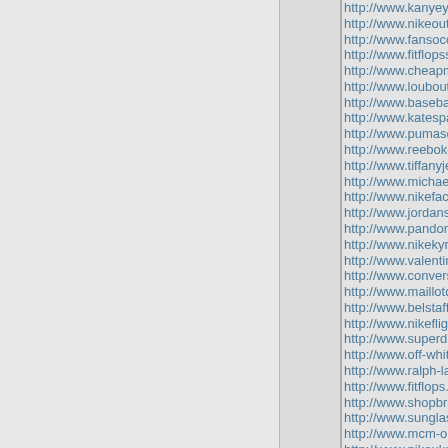http://www.kanyeyeezyshoes.n...
http://www.nikeoutletstoreonline...
http://www.fansoccerjerseys.co...
http://www.fitflopssaleclearance...
http://www.cheapmichaelkorsha...
http://www.louboutins.us.com
http://www.baseballbats.us.com...
http://www.katespadehandbags...
http://www.pumasoutlet.us.com...
http://www.reebokclassicshoes....
http://www.tiffanyjewelry.in.net
http://www.michaelkorsoutleton...
http://www.nikefactory.us
http://www.jordans.in.net
http://www.pandorajewelrycana...
http://www.nikekyrie3.us.com
http://www.valentino.us.org
http://www.converse.me.uk
http://www.maillotdefootfrance....
http://www.belstaffoutlet.us.com...
http://www.nikeflightbonafide.us...
http://www.superdry.me.uk
http://www.off-white.us.com
http://www.ralph-laurenpolouk.c...
http://www.fitflops.us.org
http://www.shopbrandbelts.com...
http://www.sunglassesoakleych...
http://www.mcm-outlets.us.com...
http://www.nikeukstores.me.uk
http://www.adidasyeezy350.us....
http://www.vancleefarpelsjewel...
http://www.converseshoes.us.c...
http://www.malonesouliers.us.c...
http://www.raybanwayfarer.us.c...
http://www.coachoutletonline70...
http://www.truereligion-jeans.m...
http://www.marceloburlon.us.co...